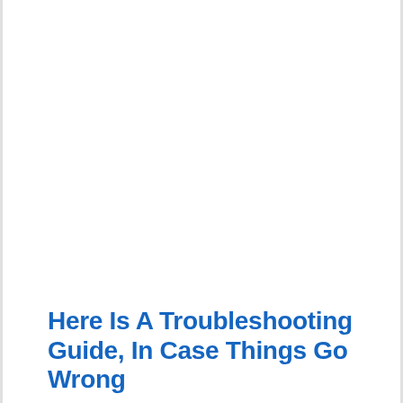Here Is A Troubleshooting Guide, In Case Things Go Wrong